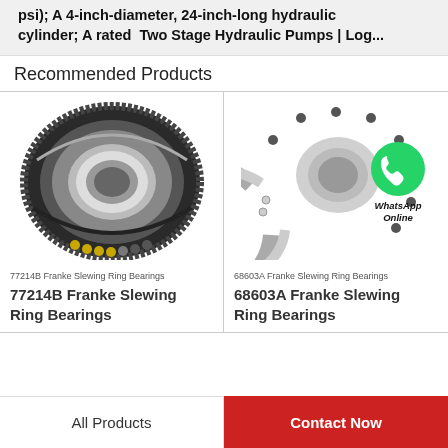psi); A 4-inch-diameter, 24-inch-long hydraulic cylinder; A rated Two Stage Hydraulic Pumps | Log...
Recommended Products
[Figure (photo): 77214B Franke Slewing Ring Bearing - large circular gear ring bearing with ball bearings visible]
77214B Franke Slewing Ring Bearings
77214B Franke Slewing Ring Bearings
[Figure (photo): 68603A Franke Slewing Ring Bearing - partial ring bearing with WhatsApp Online overlay icon]
68603A Franke Slewing Ring Bearings
68603A Franke Slewing Ring Bearings
All Products
Contact Now